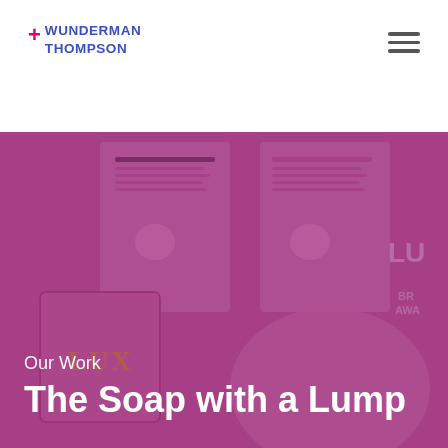+ WUNDERMAN THOMPSON
[Figure (photo): Hero image showing LUX soap products displayed in a branded exhibition setup with informational panels and soap bars, overlaid with a deep magenta/purple color wash]
Our Work
The Soap with a Lump